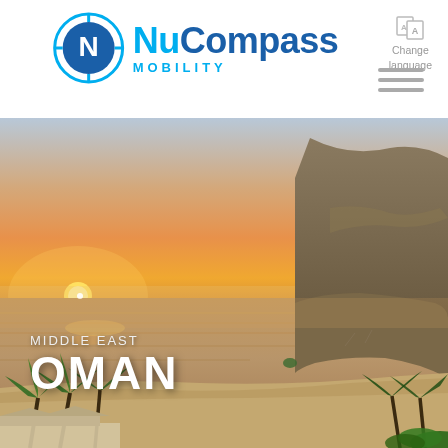[Figure (logo): NuCompass Mobility logo — circular N icon in cyan/blue with two concentric circles and target lines, next to bold cyan text 'NuCompass' with 'MOBILITY' tagline below]
Change language
[Figure (photo): Coastal sunset landscape photograph of Oman — golden orange sun setting over calm sea waters, rocky cliff headland on the right, palm trees and resort area in the foreground, sandy beach, warm amber and pink sky]
MIDDLE EAST
OMAN